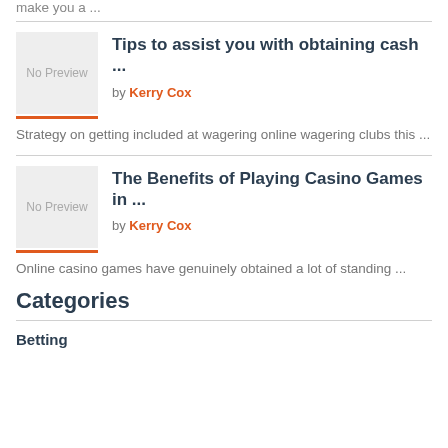make you a ...
Tips to assist you with obtaining cash ...
by Kerry Cox
Strategy on getting included at wagering online wagering clubs this ...
The Benefits of Playing Casino Games in ...
by Kerry Cox
Online casino games have genuinely obtained a lot of standing ...
Categories
Betting